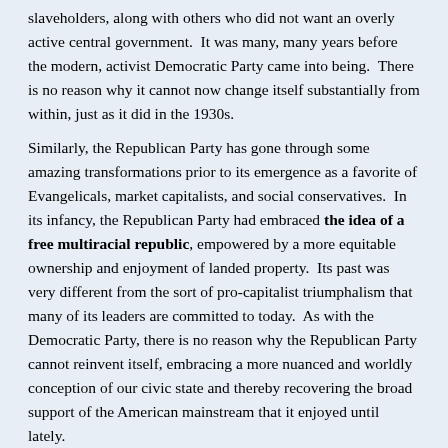slaveholders, along with others who did not want an overly active central government.  It was many, many years before the modern, activist Democratic Party came into being.  There is no reason why it cannot now change itself substantially from within, just as it did in the 1930s.
Similarly, the Republican Party has gone through some amazing transformations prior to its emergence as a favorite of Evangelicals, market capitalists, and social conservatives.  In its infancy, the Republican Party had embraced the idea of a free multiracial republic, empowered by a more equitable ownership and enjoyment of landed property.  Its past was very different from the sort of pro-capitalist triumphalism that many of its leaders are committed to today.  As with the Democratic Party, there is no reason why the Republican Party cannot reinvent itself, embracing a more nuanced and worldly conception of our civic state and thereby recovering the broad support of the American mainstream that it enjoyed until lately.
4.  A final and very important observation has to do with the role of thought and strategic organization in achieving these crucial